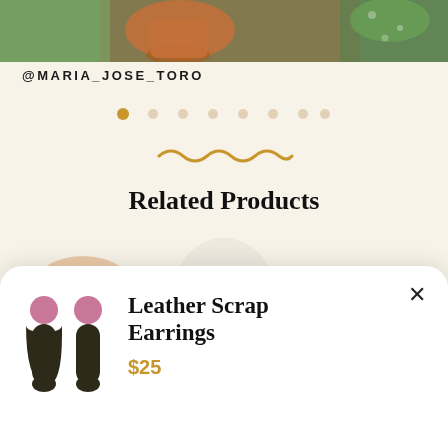@MARIA_JOSE_TORO
[Figure (photo): Top portion of a photo showing plants with green leaves and terracotta pots on a cream background]
@MARIA_JOSE_TORO
[Figure (other): Pagination dots row — 8 dots, first one active/filled, rest semi-transparent]
[Figure (illustration): Decorative golden wavy line divider]
Related Products
[Figure (photo): Partial product image circle and upward arrow button]
[Figure (illustration): Popup card showing leather scrap earrings product with close button]
Leather Scrap Earrings
$25